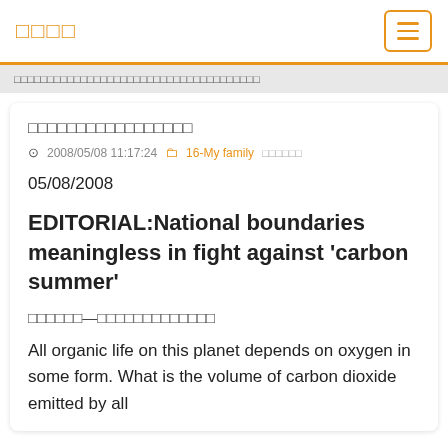□□□□
□□□□□□□□□□□□□□□□□□□□□□□□□□□□□□□□□□□□□□□
□□□□□□□□□□□□□□□□□
2008/05/08 11:17:24   16-My family □□□□□□
05/08/2008
EDITORIAL:National boundaries meaningless in fight against 'carbon summer'
□□□□□□—□□□□□□□□□□□□□
All organic life on this planet depends on oxygen in some form. What is the volume of carbon dioxide emitted by all